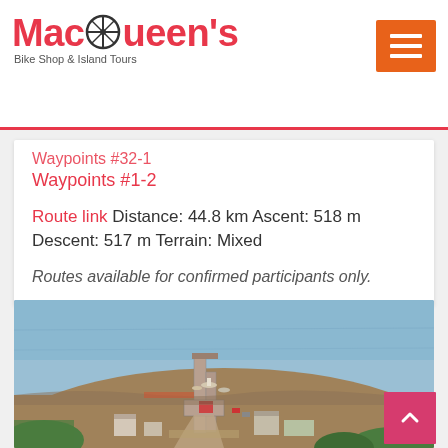MacQueen's Bike Shop & Island Tours
Waypoints #32-1
Waypoints #1-2
Route link Distance: 44.8 km Ascent: 518 m Descent: 517 m Terrain: Mixed
Routes available for confirmed participants only.
[Figure (photo): Aerial photograph of a small harbour/marina with boats docked at a pier, surrounding flat landscape with buildings, green trees, and calm blue water in the background]